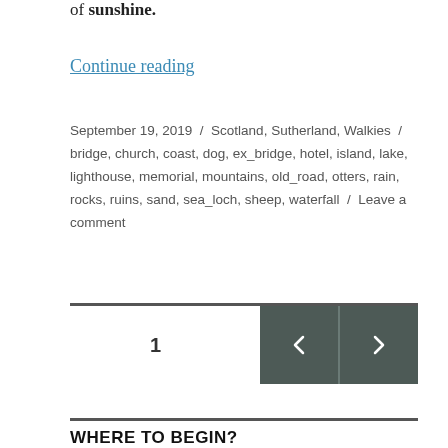of sunshine.
Continue reading
September 19, 2019 / Scotland, Sutherland, Walkies / bridge, church, coast, dog, ex_bridge, hotel, island, lake, lighthouse, memorial, mountains, old_road, otters, rain, rocks, ruins, sand, sea_loch, sheep, waterfall / Leave a comment
1
WHERE TO BEGIN?